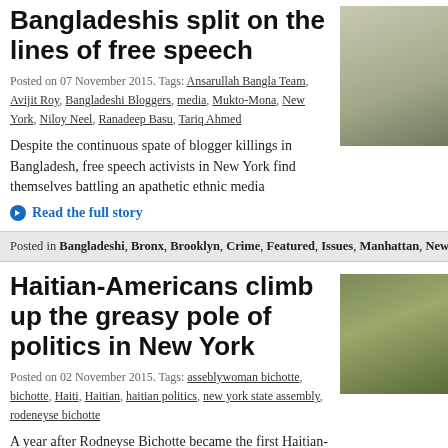Bangladeshis split on the lines of free speech
Posted on 07 November 2015. Tags: Ansarullah Bangla Team, Avijit Roy, Bangladeshi Bloggers, media, Mukto-Mona, New York, Niloy Neel, Ranadeep Basu, Tariq Ahmed
Despite the continuous spate of blogger killings in Bangladesh, free speech activists in New York find themselves battling an apathetic ethnic media
Read the full story
[Figure (photo): Portrait photo of a man outdoors with greenery behind him]
Posted in Bangladeshi, Bronx, Brooklyn, Crime, Featured, Issues, Manhattan, News, Qu...
Haitian-Americans climb up the greasy pole of politics in New York
Posted on 02 November 2015. Tags: asseblywoman bichotte, bichotte, Haiti, Haitian, haitian politics, new york state assembly, rodeneyse bichotte
A year after Rodneyse Bichotte became the first Haitian-American woman elected in New York state, she's learned
[Figure (photo): Photo of a crowd of protesters holding signs, including a Coalition banner]